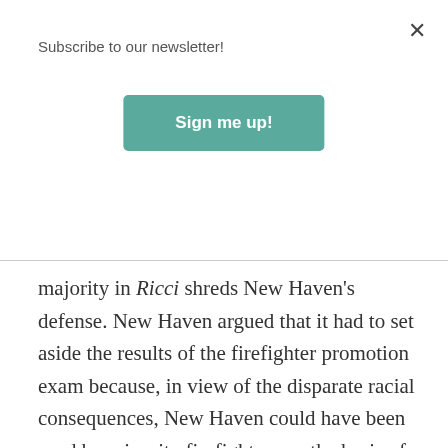Subscribe to our newsletter!
Sign me up!
majority in Ricci shreds New Haven's defense. New Haven argued that it had to set aside the results of the firefighter promotion exam because, in view of the disparate racial consequences, New Haven could have been sued by minority firefighters on the basis of discriminatory impact. To this the Court says firmly, no. You don't get to discriminate against whites out of mere fear of a lawsuit by blacks. If such a lawsuit were to emerge, New Haven...